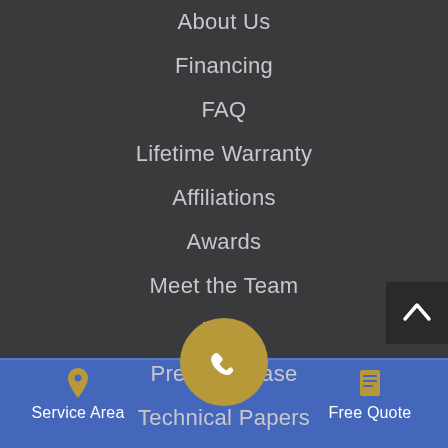About Us
Financing
FAQ
Lifetime Warranty
Affiliations
Awards
Meet the Team
Blog
Press Release
Technical Papers
Job Opportunities
[Figure (illustration): Gold phone icon in a circular button at the top of the footer]
[Figure (illustration): Back to top arrow button in dark background, top right]
Service Area
Free Quote